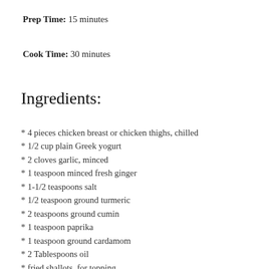Prep Time: 15 minutes
Cook Time: 30 minutes
Ingredients:
* 4 pieces chicken breast or chicken thighs, chilled
* 1/2 cup plain Greek yogurt
* 2 cloves garlic, minced
* 1 teaspoon minced fresh ginger
* 1-1/2 teaspoons salt
* 1/2 teaspoon ground turmeric
* 2 teaspoons ground cumin
* 1 teaspoon paprika
* 1 teaspoon ground cardamom
* 2 Tablespoons oil
* fried shallots, for topping